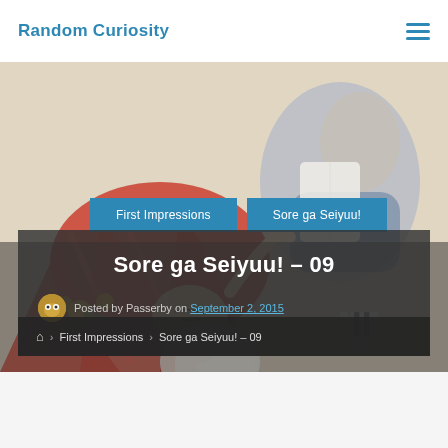Random Curiosity
[Figure (illustration): Anime-style illustration showing characters with red/orange hair lying down with books and flowers, serving as a hero/banner image for a blog post about 'Sore ga Seiyuu! – 09']
Sore ga Seiyuu! – 09
Posted by Passerby on September 2, 2015
First Impressions › Sore ga Seiyuu! – 09